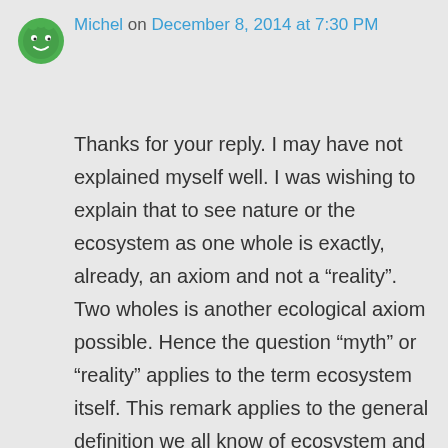Michel on December 8, 2014 at 7:30 PM
Thanks for your reply. I may have not explained myself well. I was wishing to explain that to see nature or the ecosystem as one whole is exactly, already, an axiom and not a “reality”. Two wholes is another ecological axiom possible. Hence the question “myth” or “reality” applies to the term ecosystem itself. This remark applies to the general definition we all know of ecosystem and as well, very much, to the definition of ecosystemic ecology drawn by Odum.